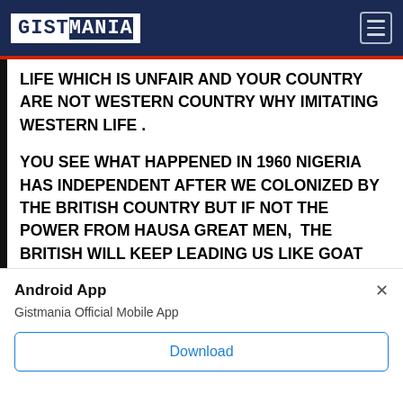GISTMANIA
LIFE WHICH IS UNFAIR AND YOUR COUNTRY ARE NOT WESTERN COUNTRY WHY IMITATING WESTERN LIFE .
YOU SEE WHAT HAPPENED IN 1960 NIGERIA HAS INDEPENDENT AFTER WE COLONIZED BY THE BRITISH COUNTRY BUT IF NOT THE POWER FROM HAUSA GREAT MEN,  THE BRITISH WILL KEEP LEADING US LIKE GOAT TILL TODAY.  WELL! I TRUST MY PEOPLE.
Android App
Gistmania Official Mobile App
Download